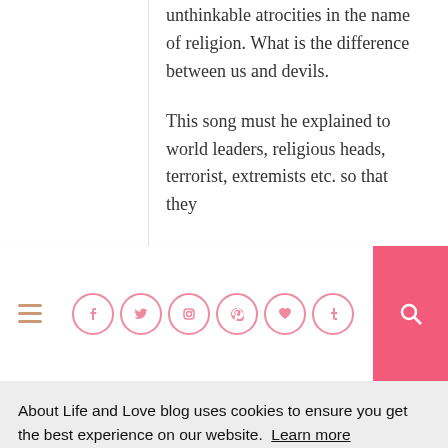unthinkable atrocities in the name of religion. What is the difference between us and devils.
This song must he explained to world leaders, religious heads, terrorist, extremists etc. so that they
[Figure (screenshot): Website navigation bar with hamburger menu icon, social media icons (Facebook, Twitter, Instagram, Pinterest, heart/Bloglovin, Tumblr) in pink circles, and a pink search button on the right.]
About Life and Love blog uses cookies to ensure you get the best experience on our website.  Learn more
Got it!
prosperity.